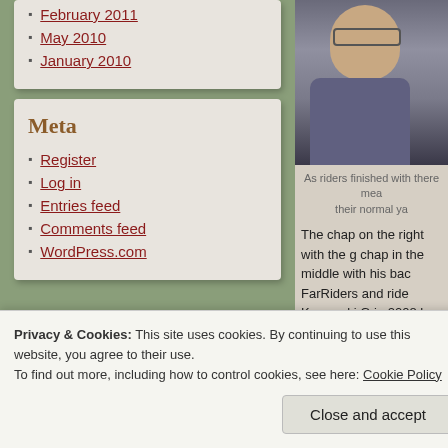February 2011
May 2010
January 2010
[Figure (photo): Photo of a person wearing glasses, partially cropped]
As riders finished with there me... their normal ya...
Meta
Register
Log in
Entries feed
Comments feed
WordPress.com
The chap on the right with the g... chap in the middle with his bac... FarRiders and ride Kawasaki G... in 2008 has about 220,000km o...
After our meals it was simply a... the group to head home while t... hole.
Privacy & Cookies: This site uses cookies. By continuing to use this website, you agree to their use.
To find out more, including how to control cookies, see here: Cookie Policy
Close and accept